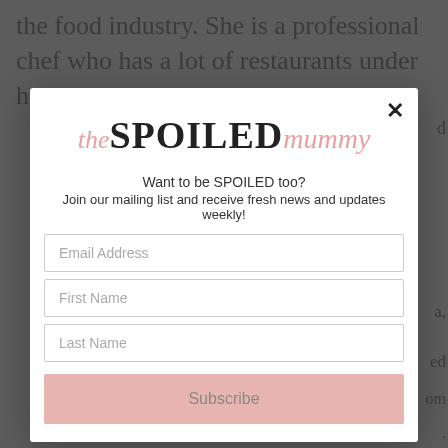the food industry. She is a professional chef who has a lot of restaurants under her name :
[Figure (screenshot): Modal popup for 'the SPOILED mummy' newsletter subscription. Contains logo, tagline, email address field, first name field, last name field, and a Subscribe button. A close (x) button is at the top right.]
Want to be SPOILED too?
Join our mailing list and receive fresh news and updates weekly!